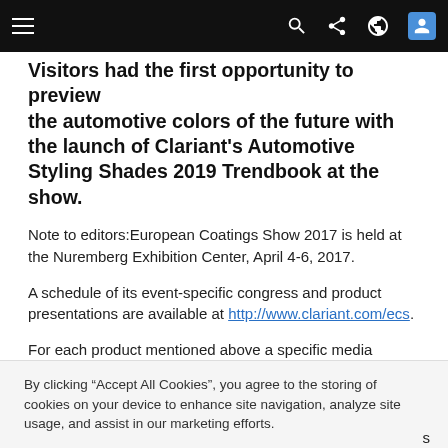Navigation bar with menu, search, share, globe, and profile icons
Visitors had the first opportunity to preview the automotive colors of the future with the launch of Clariant's Automotive Styling Shades 2019 Trendbook at the show.
Note to editors:European Coatings Show 2017 is held at the Nuremberg Exhibition Center, April 4-6, 2017.
A schedule of its event-specific congress and product presentations are available at http://www.clariant.com/ecs.
For each product mentioned above a specific media release is available at www.clariant.com/ecs
By clicking “Accept All Cookies”, you agree to the storing of cookies on your device to enhance site navigation, analyze site usage, and assist in our marketing efforts.